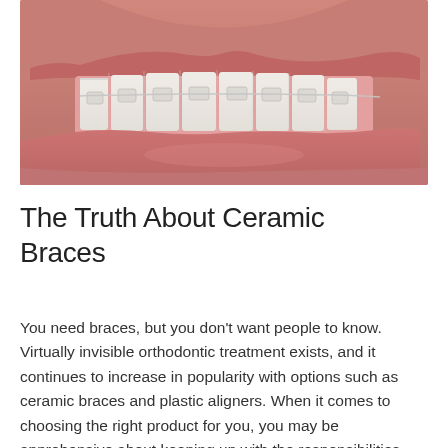[Figure (photo): Close-up photo of a person's mouth smiling, showing teeth fitted with clear/ceramic orthodontic braces and wire]
The Truth About Ceramic Braces
You need braces, but you don't want people to know. Virtually invisible orthodontic treatment exists, and it continues to increase in popularity with options such as ceramic braces and plastic aligners. When it comes to choosing the right product for you, you may be apprehensive about keeping up with the responsibilities